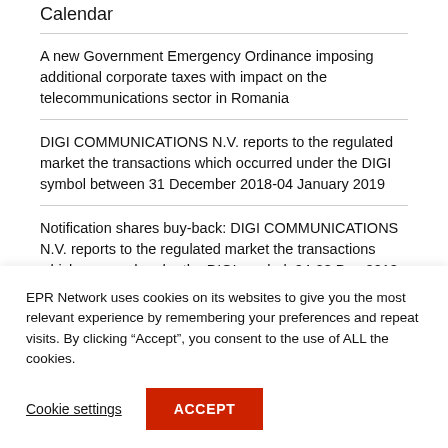Calendar
A new Government Emergency Ordinance imposing additional corporate taxes with impact on the telecommunications sector in Romania
DIGI COMMUNICATIONS N.V. reports to the regulated market the transactions which occurred under the DIGI symbol between 31 December 2018-04 January 2019
Notification shares buy-back: DIGI COMMUNICATIONS N.V. reports to the regulated market the transactions which occurred under the DIGI symbol, 24-28 Dec 2018
EPR Network uses cookies on its websites to give you the most relevant experience by remembering your preferences and repeat visits. By clicking “Accept”, you consent to the use of ALL the cookies.
Cookie settings
ACCEPT